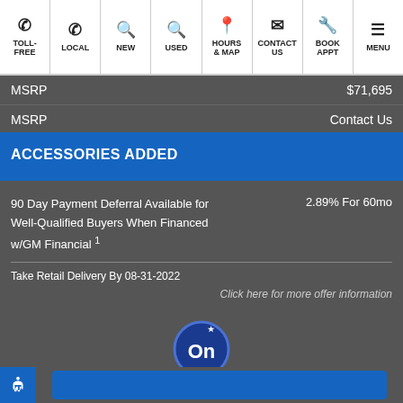TOLL-FREE | LOCAL | NEW | USED | HOURS & MAP | CONTACT US | BOOK APPT | MENU
MSRP $71,695
MSRP Contact Us
ACCESSORIES ADDED
90 Day Payment Deferral Available for Well-Qualified Buyers When Financed w/GM Financial 1   2.89% For 60mo
Take Retail Delivery By 08-31-2022
Click here for more offer information
[Figure (logo): OnStar circular logo with 'On' text and star symbol]